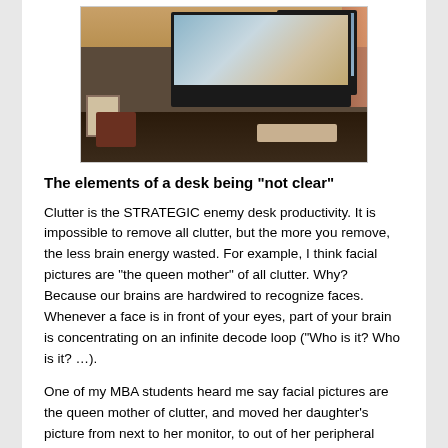[Figure (photo): A cluttered desk setup with multiple computer monitors, keyboard, framed photo, and various items on a dark wood desk surface, with curtains visible in the background.]
The elements of a desk being “not clear”
Clutter is the STRATEGIC enemy desk productivity. It is impossible to remove all clutter, but the more you remove, the less brain energy wasted. For example, I think facial pictures are “the queen mother” of all clutter. Why? Because our brains are hardwired to recognize faces. Whenever a face is in front of your eyes, part of your brain is concentrating on an infinite decode loop (“Who is it? Who is it? …).
One of my MBA students heard me say facial pictures are the queen mother of clutter, and moved her daughter’s picture from next to her monitor, to out of her peripheral vision to the left. The pic is still there, she can look at the pic whenever she wants, but she is not burning energy